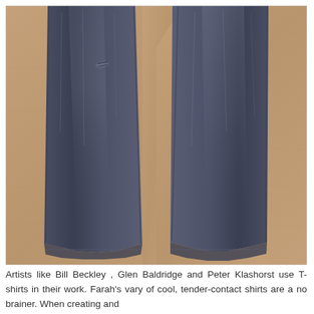[Figure (photo): Photo of dark blue distressed skinny jeans laid flat on a tan/cork-textured surface, showing the lower legs from approximately knee down. The left leg has a small tear/distress mark near the upper portion visible. The denim shows fading and whiskering details.]
Artists like Bill Beckley , Glen Baldridge and Peter Klashorst use T-shirts in their work. Farah's vary of cool, tender-contact shirts are a no brainer. When creating and